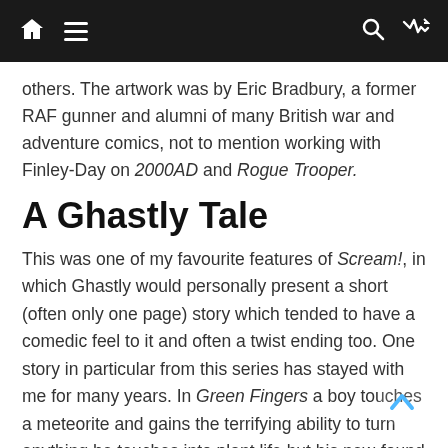Navigation bar with home, menu, search, and shuffle icons
others. The artwork was by Eric Bradbury, a former RAF gunner and alumni of many British war and adventure comics, not to mention working with Finley-Day on 2000AD and Rogue Trooper.
A Ghastly Tale
This was one of my favourite features of Scream!, in which Ghastly would personally present a short (often only one page) story which tended to have a comedic feel to it and often a twist ending too. One story in particular from this series has stayed with me for many years. In Green Fingers a boy touches a meteorite and gains the terrifying ability to turn anything he touches into plant life but his new-found powers have tragic and unforeseen